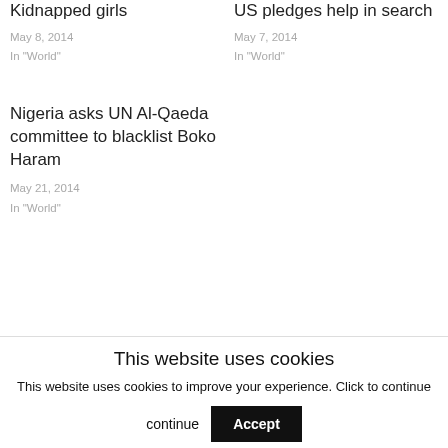Kidnapped girls
May 8, 2014
In "World"
US pledges help in search
May 7, 2014
In "World"
Nigeria asks UN Al-Qaeda committee to blacklist Boko Haram
May 21, 2014
In "World"
This website uses cookies
This website uses cookies to improve your experience. Click to continue
Accept